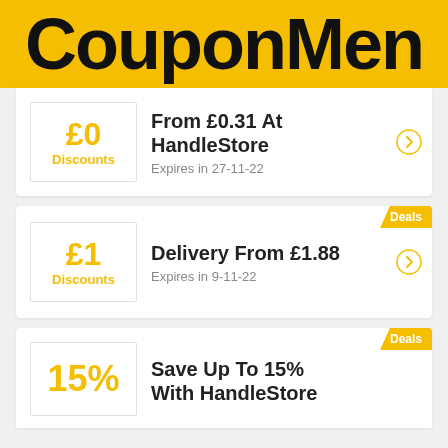CouponMen
£0 Discounts — Groceries & Deals From £0.31 At HandleStore — Expires in 27-11-22
£1 Discounts — Delivery From £1.88 — Expires in 9-11-22
15% — Save Up To 15% With HandleStore